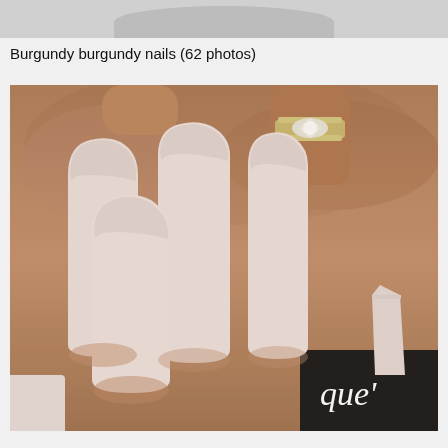[Figure (photo): Top strip showing partial view of a previous image - grey cropped area at the top of the page]
Burgundy burgundy nails (62 photos)
[Figure (photo): Close-up photo of a woman's hand with long matte light pink/nude coffin-shaped acrylic nails. She is wearing a diamond engagement ring with wedding band on her ring finger. A dark branded item with cursive white text 'que'' is visible in the bottom right corner.]